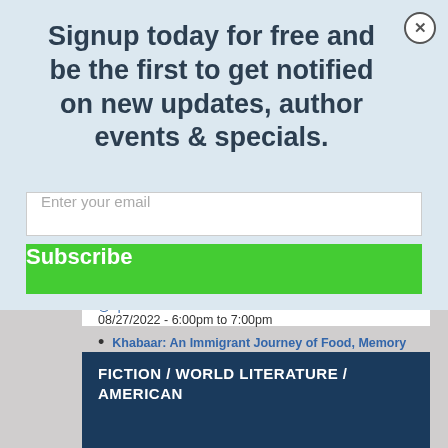Signup today for free and be the first to get notified on new updates, author events & specials.
Enter your email
Subscribe
@6pm
08/27/2022 - 6:00pm to 7:00pm
Khabaar: An Immigrant Journey of Food, Memory & Family 8/28 @6pm
08/28/2022 - 6:00pm to 7:00pm
"Dot & Ralfie" – Amy Hoffman 8/30 @6pm
08/30/2022 - 6:00pm to 7:00pm
more
FICTION / WORLD LITERATURE / AMERICAN